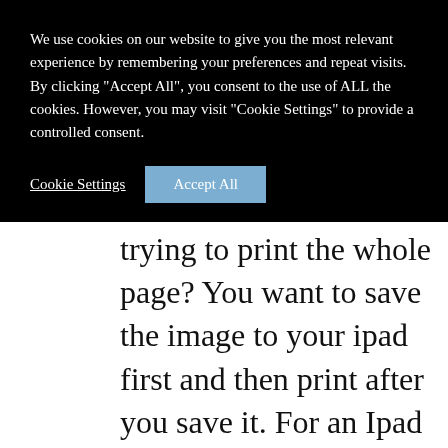We use cookies on our website to give you the most relevant experience by remembering your preferences and repeat visits. By clicking “Accept All”, you consent to the use of ALL the cookies. However, you may visit "Cookie Settings" to provide a controlled consent.
Cookie Settings   Accept All
trying to print the whole page? You want to save the image to your ipad first and then print after you save it. For an Ipad you want to place your finger on the image that you want and then hold it until a menu pops up.
Next tap Save Photo/Image to